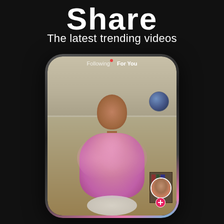Share
The latest trending videos
[Figure (screenshot): A TikTok app screenshot showing a woman in a pink fluffy coat in a video, with 'Following' and 'For You' navigation tabs at the top of the phone screen, displayed inside a smartphone frame on a dark background.]